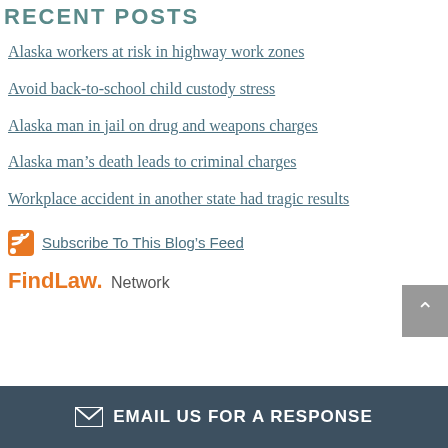RECENT POSTS
Alaska workers at risk in highway work zones
Avoid back-to-school child custody stress
Alaska man in jail on drug and weapons charges
Alaska man's death leads to criminal charges
Workplace accident in another state had tragic results
Subscribe To This Blog's Feed
[Figure (logo): FindLaw Network logo with orange FindLaw text and gray Network text]
EMAIL US FOR A RESPONSE